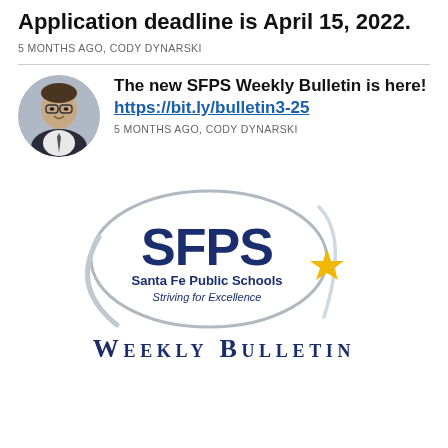Application deadline is April 15, 2022.
5 MONTHS AGO, CODY DYNARSKI
[Figure (photo): Circular profile photo of a man with glasses and a suit, smiling]
The new SFPS Weekly Bulletin is here! https://bit.ly/bulletin3-25
5 MONTHS AGO, CODY DYNARSKI
[Figure (logo): SFPS Santa Fe Public Schools Striving for Excellence logo with a gold star and swoosh design]
WEEKLY BULLETIN